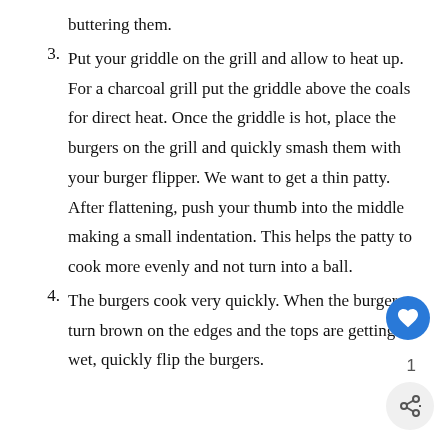buttering them.
3. Put your griddle on the grill and allow to heat up. For a charcoal grill put the griddle above the coals for direct heat. Once the griddle is hot, place the burgers on the grill and quickly smash them with your burger flipper. We want to get a thin patty. After flattening, push your thumb into the middle making a small indentation. This helps the patty to cook more evenly and not turn into a ball.
4. The burgers cook very quickly. When the burgers turn brown on the edges and the tops are getting wet, quickly flip the burgers.